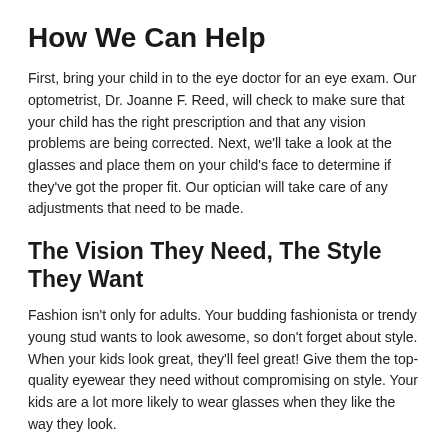How We Can Help
First, bring your child in to the eye doctor for an eye exam. Our optometrist, Dr. Joanne F. Reed, will check to make sure that your child has the right prescription and that any vision problems are being corrected. Next, we'll take a look at the glasses and place them on your child's face to determine if they've got the proper fit. Our optician will take care of any adjustments that need to be made.
The Vision They Need, The Style They Want
Fashion isn't only for adults. Your budding fashionista or trendy young stud wants to look awesome, so don't forget about style. When your kids look great, they'll feel great! Give them the top-quality eyewear they need without compromising on style. Your kids are a lot more likely to wear glasses when they like the way they look.
What You Can Do to Help